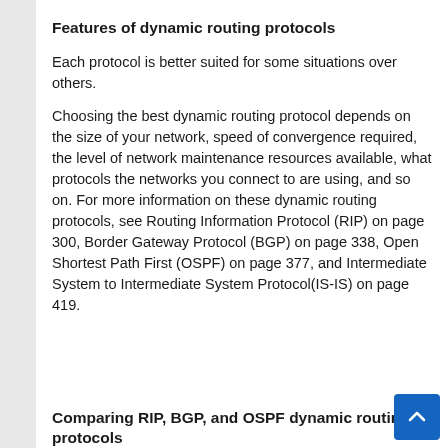Features of dynamic routing protocols
Each protocol is better suited for some situations over others.
Choosing the best dynamic routing protocol depends on the size of your network, speed of convergence required, the level of network maintenance resources available, what protocols the networks you connect to are using, and so on. For more information on these dynamic routing protocols, see Routing Information Protocol (RIP) on page 300, Border Gateway Protocol (BGP) on page 338, Open Shortest Path First (OSPF) on page 377, and Intermediate System to Intermediate System Protocol(IS-IS) on page 419.
Comparing RIP, BGP, and OSPF dynamic routing protocols